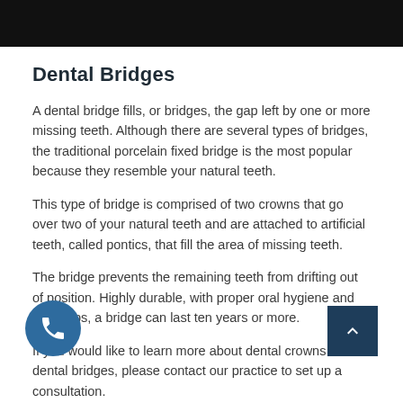[Figure (other): Black header image bar at top of page]
Dental Bridges
A dental bridge fills, or bridges, the gap left by one or more missing teeth. Although there are several types of bridges, the traditional porcelain fixed bridge is the most popular because they resemble your natural teeth.
This type of bridge is comprised of two crowns that go over two of your natural teeth and are attached to artificial teeth, called pontics, that fill the area of missing teeth.
The bridge prevents the remaining teeth from drifting out of position. Highly durable, with proper oral hygiene and checkups, a bridge can last ten years or more.
If you would like to learn more about dental crowns or dental bridges, please contact our practice to set up a consultation.